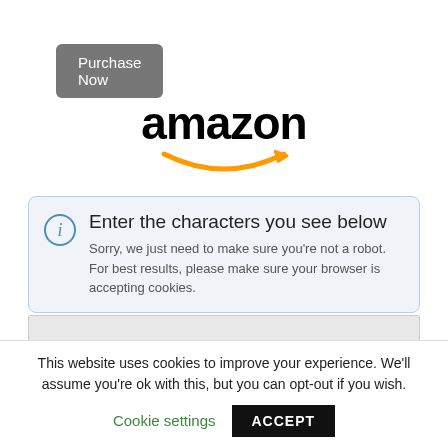[Figure (screenshot): Purchase Now button — grey rounded rectangle with white text]
[Figure (logo): Amazon logo: bold black 'amazon' text with orange arrow/smile beneath]
Enter the characters you see below
Sorry, we just need to make sure you're not a robot. For best results, please make sure your browser is accepting cookies.
This website uses cookies to improve your experience. We'll assume you're ok with this, but you can opt-out if you wish.
Cookie settings
ACCEPT